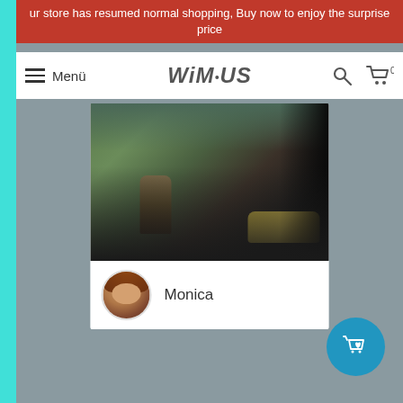ur store has resumed normal shopping, Buy now to enjoy the surprise price
Menü | WiMiUS | Search | Cart 0
[Figure (screenshot): Video thumbnail showing outdoor street scene with a figure and yellow car, dark silhouettes]
Monica
[Figure (other): Floating action button with shopping bag and heart icon]